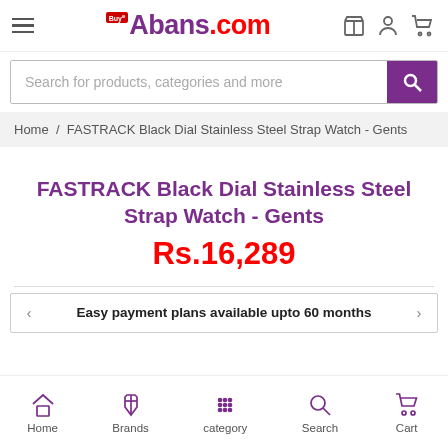BuyAbans.com
Search for products, categories and more
Home / FASTRACK Black Dial Stainless Steel Strap Watch - Gents
FASTRACK Black Dial Stainless Steel Strap Watch - Gents
Rs.16,289
Easy payment plans available upto 60 months
Home  Brands  category  Search  Cart